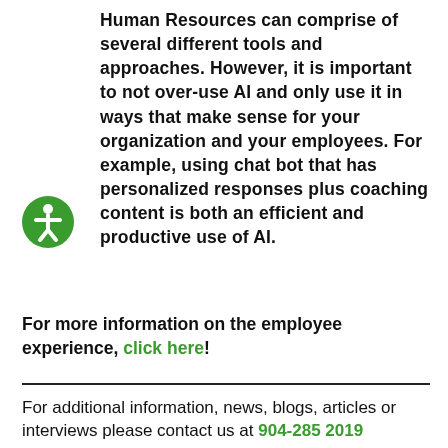Human Resources can comprise of several different tools and approaches. However, it is important to not over-use AI and only use it in ways that make sense for your organization and your employees. For example, using chat bot that has personalized responses plus coaching content is both an efficient and productive use of AI.
[Figure (illustration): Green circle with white accessibility icon (person with arms outstretched)]
For more information on the employee experience, click here!
For additional information, news, blogs, articles or interviews please contact us at 904-285 2019